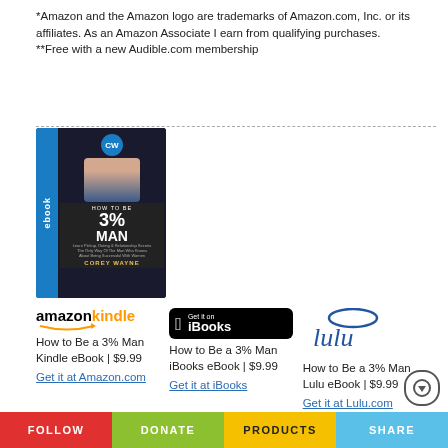*Amazon and the Amazon logo are trademarks of Amazon.com, Inc. or its affiliates. As an Amazon Associate I earn from qualifying purchases.
**Free with a new Audible.com membership
[Figure (illustration): eBook cover for 'How to Be a 3% Man' by Corey Wayne, showing a tablet device with the book cover featuring a man in a suit and the Corey Wayne logo.]
[Figure (logo): Amazon Kindle logo in black and orange text]
How to Be a 3% Man
Kindle eBook | $9.99
Get it at Amazon.com
[Figure (logo): Apple iBooks badge: black rounded rectangle with Apple logo and 'Get it on iBooks']
How to Be a 3% Man
iBooks eBook | $9.99
Get it at iBooks
[Figure (logo): Lulu logo in blue italic cursive text]
How to Be a 3% Man
Lulu eBook | $9.99
Get it at Lulu.com
FOLLOW  DONATE  PRODUCTS  SHARE